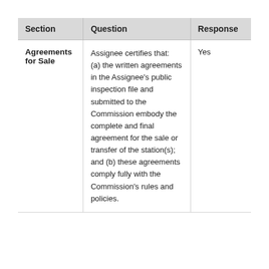| Section | Question | Response |
| --- | --- | --- |
| Agreements for Sale | Assignee certifies that:
(a) the written agreements in the Assignee's public inspection file and submitted to the Commission embody the complete and final agreement for the sale or transfer of the station(s); and
(b) these agreements comply fully with the Commission's rules and policies. | Yes |